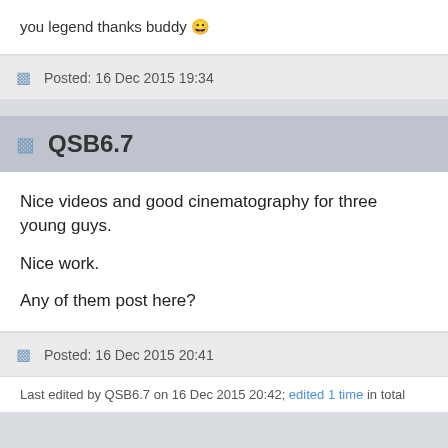you legend thanks buddy 😀
Posted: 16 Dec 2015 19:34
QSB6.7
Nice videos and good cinematography for three young guys.

Nice work.

Any of them post here?
Posted: 16 Dec 2015 20:41
Last edited by QSB6.7 on 16 Dec 2015 20:42; edited 1 time in total